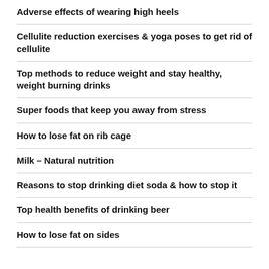Adverse effects of wearing high heels
Cellulite reduction exercises & yoga poses to get rid of cellulite
Top methods to reduce weight and stay healthy, weight burning drinks
Super foods that keep you away from stress
How to lose fat on rib cage
Milk – Natural nutrition
Reasons to stop drinking diet soda & how to stop it
Top health benefits of drinking beer
How to lose fat on sides